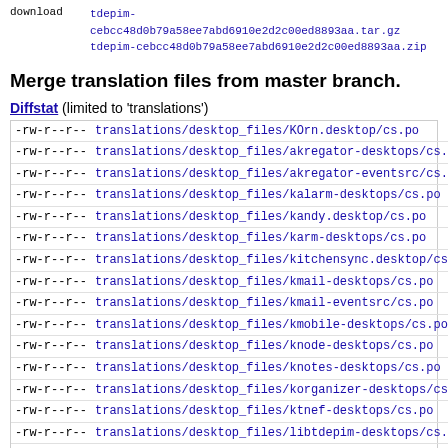download   tdepim-cebcc48d0b79a58ee7abd6910e2d2c00ed8893aa.tar.gz
           tdepim-cebcc48d0b79a58ee7abd6910e2d2c00ed8893aa.zip
Merge translation files from master branch.
Diffstat (limited to 'translations')
| permissions | file | num |
| --- | --- | --- |
| -rw-r--r-- | translations/desktop_files/KOrn.desktop/cs.po | 15 |
| -rw-r--r-- | translations/desktop_files/akregator-desktops/cs.po | 20 |
| -rw-r--r-- | translations/desktop_files/akregator-eventsrc/cs.po | 17 |
| -rw-r--r-- | translations/desktop_files/kalarm-desktops/cs.po | 16 |
| -rw-r--r-- | translations/desktop_files/kandy.desktop/cs.po | 15 |
| -rw-r--r-- | translations/desktop_files/karm-desktops/cs.po | 17 |
| -rw-r--r-- | translations/desktop_files/kitchensync.desktop/cs.po | 15 |
| -rw-r--r-- | translations/desktop_files/kmail-desktops/cs.po | 27 |
| -rw-r--r-- | translations/desktop_files/kmail-eventsrc/cs.po | 15 |
| -rw-r--r-- | translations/desktop_files/kmobile-desktops/cs.po | 18 |
| -rw-r--r-- | translations/desktop_files/knode-desktops/cs.po | 19 |
| -rw-r--r-- | translations/desktop_files/knotes-desktops/cs.po | 16 |
| -rw-r--r-- | translations/desktop_files/korganizer-desktops/cs.po | 45 |
| -rw-r--r-- | translations/desktop_files/ktnef-desktops/cs.po | 17 |
| -rw-r--r-- | translations/desktop_files/libtdepim-desktops/cs.po | 20 |
| -rw-r--r-- | translations/desktop_files/tdeabc-desktops/cs.po | 28 |